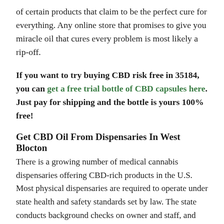of certain products that claim to be the perfect cure for everything. Any online store that promises to give you miracle oil that cures every problem is most likely a rip-off.
If you want to try buying CBD risk free in 35184, you can get a free trial bottle of CBD capsules here. Just pay for shipping and the bottle is yours 100% free!
Get CBD Oil From Dispensaries In West Blocton
There is a growing number of medical cannabis dispensaries offering CBD-rich products in the U.S. Most physical dispensaries are required to operate under state health and safety standards set by law. The state conducts background checks on owner and staff, and dispensaries must meet security requirements and strict licensing